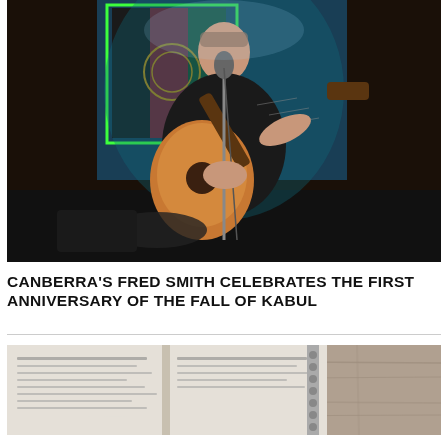[Figure (photo): A man in a black shirt playing acoustic guitar and singing into a microphone on a dark stage, with a projection of the Afghan flag visible in the background.]
CANBERRA'S FRED SMITH CELEBRATES THE FIRST ANNIVERSARY OF THE FALL OF KABUL
[Figure (photo): Partial view of what appears to be a book or printed document on a wooden surface.]